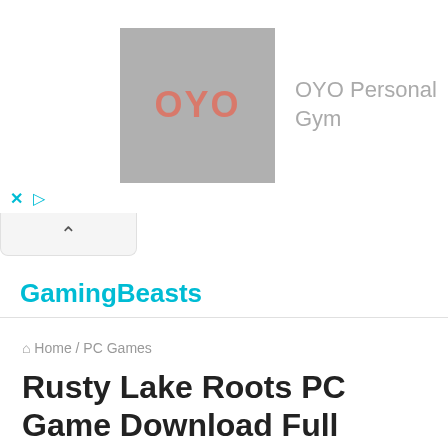[Figure (logo): OYO Fitness advertisement banner with OYO logo on grey background and text 'OYO Personal Gym']
GamingBeasts
Home / PC Games
Rusty Lake Roots PC Game Download Full Version
Rusty Lake: Roots is a popular adventure indie game that has been developed and published under the banner of Rusty Lake. The game was first released on 20th October 2016 and it is part of the Rusty Lake franchise. The game...